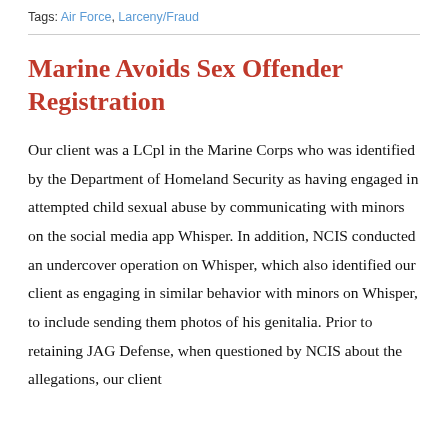Tags: Air Force, Larceny/Fraud
Marine Avoids Sex Offender Registration
Our client was a LCpl in the Marine Corps who was identified by the Department of Homeland Security as having engaged in attempted child sexual abuse by communicating with minors on the social media app Whisper. In addition, NCIS conducted an undercover operation on Whisper, which also identified our client as engaging in similar behavior with minors on Whisper, to include sending them photos of his genitalia. Prior to retaining JAG Defense, when questioned by NCIS about the allegations, our client